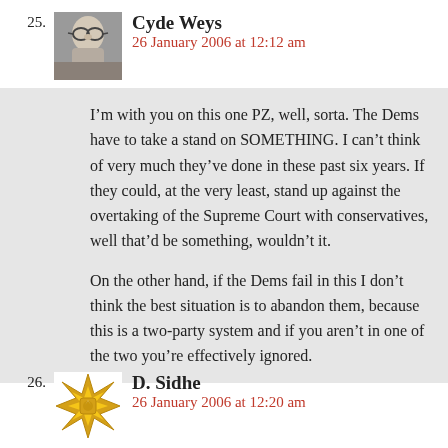25.
[Figure (photo): Avatar photo of Cyde Weys - man with glasses]
Cyde Weys
26 January 2006 at 12:12 am
I’m with you on this one PZ, well, sorta. The Dems have to take a stand on SOMETHING. I can’t think of very much they’ve done in these past six years. If they could, at the very least, stand up against the overtaking of the Supreme Court with conservatives, well that’d be something, wouldn’t it.

On the other hand, if the Dems fail in this I don’t think the best situation is to abandon them, because this is a two-party system and if you aren’t in one of the two you’re effectively ignored.
26.
[Figure (illustration): Decorative star/pinwheel avatar pattern in gold/yellow]
D. Sidhe
26 January 2006 at 12:20 am